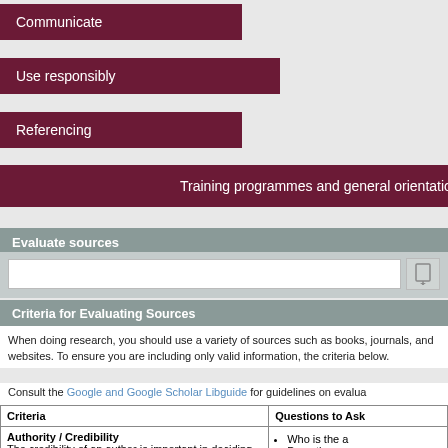Communicate
Use responsibly
Referencing
Training programmes and general orientation
Evaluate sources
Criteria for Evaluating Sources
When doing research, you should use a variety of sources such as books, journals, and websites. To ensure you are including only valid information, the criteria below.
Consult the Google and Google Scholar Libguide for guidelines on evalua...
| Criteria | Questions to Ask |
| --- | --- |
| Authority / Credibility
The credibility of an author is important in deciding whether information is reliable. The author should show some evidence of being knowledgeable, reliable and truthful. | • Who is the a...
• Does the sou...
  believe the a... |